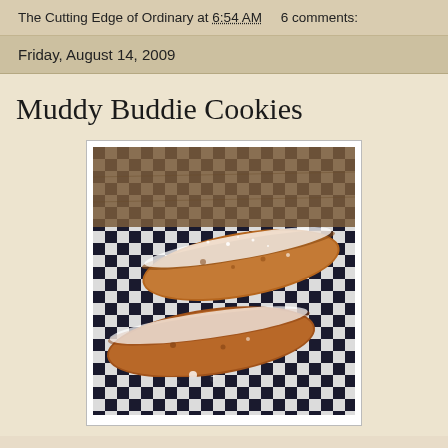The Cutting Edge of Ordinary at 6:54 AM    6 comments:
Friday, August 14, 2009
Muddy Buddie Cookies
[Figure (photo): Two elongated cookies (similar to biscotti) dusted with powdered sugar, stacked on a black and white checkered cloth/napkin. The cookies are golden-brown and appear crumbly with a dense texture.]